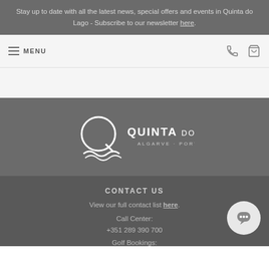Stay up to date with all the latest news, special offers and events in Quinta do Lago - Subscribe to our newsletter here.
[Figure (screenshot): Navigation bar with hamburger menu icon, MENU text, phone icon, and cart icon]
[Figure (logo): Quinta do Lago logo - white Q letter with wave lines, text QUINTA DO LAGO ALGARVE - PORTUGAL]
CONTACT US
View our full contact list here.
Call Center: +351 289 390 700
Golf Bookings: